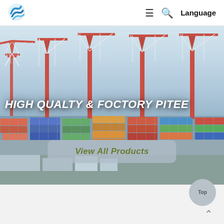[Figure (logo): Blue swirl/globe logo icon]
≡  🔍  Language
[Figure (photo): Port/shipping terminal with large red and white cranes and stacked colorful shipping containers under a hazy sky]
HIGH QUALTY & FOCTORY PITEE
View All Products
Top ∧